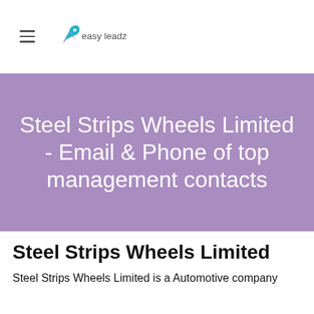easy leadz
Steel Strips Wheels Limited - Email & Phone of top management contacts
Steel Strips Wheels Limited
Steel Strips Wheels Limited is a Automotive company